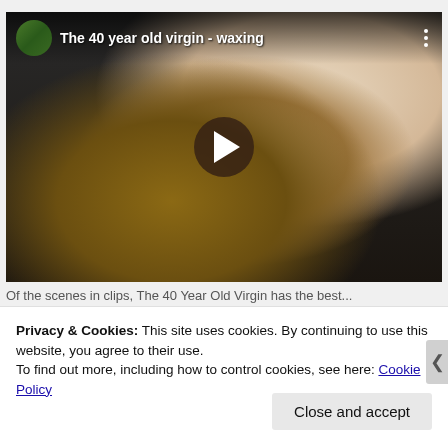[Figure (screenshot): YouTube video thumbnail showing a scene from 'The 40 Year Old Virgin - waxing'. A man is lying on a table while someone performs waxing on his chest. The video player shows a play button overlay, channel avatar, video title, and a three-dot menu icon.]
Of the scenes in clips, The 40 Year Old Virgin has the best...
Privacy & Cookies: This site uses cookies. By continuing to use this website, you agree to their use.
To find out more, including how to control cookies, see here: Cookie Policy